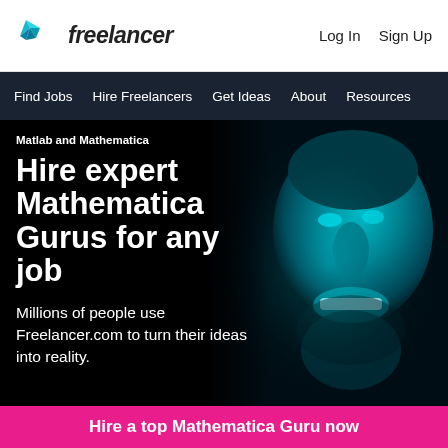freelancer | Log In  Sign Up
[Figure (logo): Freelancer.com logo with blue geometric bird/arrow shape and italic wordmark 'freelancer']
Log In  Sign Up
Find Jobs  Hire Freelancers  Get Ideas  About  Resources
Matlab and Mathematica
Hire expert Mathematica Gurus for any job
Millions of people use Freelancer.com to turn their ideas into reality.
[Figure (photo): Close-up portrait of a smiling man with blue/cyan lighting tint against dark background]
Hire a top Mathematica Guru now